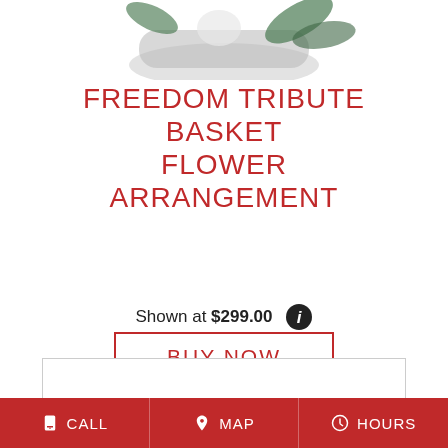[Figure (photo): Floral arrangement in a grey wicker basket with white flowers and green leaves, partially visible at top of page]
FREEDOM TRIBUTE BASKET FLOWER ARRANGEMENT
Shown at $299.00
BUY NOW
CALL  MAP  HOURS